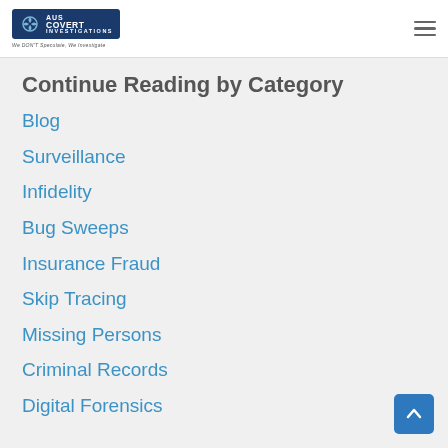AUS COVERT INVESTIGATIONS — We DON'T Speculate, We Investigate
Continue Reading by Category
Blog
Surveillance
Infidelity
Bug Sweeps
Insurance Fraud
Skip Tracing
Missing Persons
Criminal Records
Digital Forensics